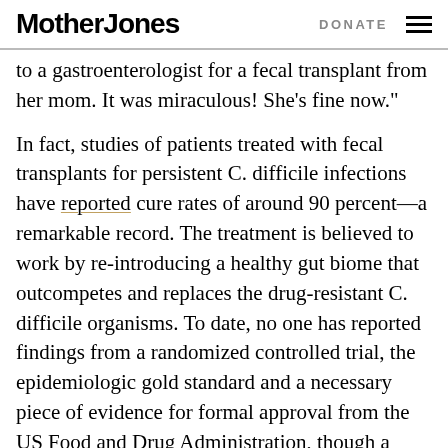Mother Jones | DONATE
to a gastroenterologist for a fecal transplant from her mom. It was miraculous! She’s fine now.”
In fact, studies of patients treated with fecal transplants for persistent C. difficile infections have reported cure rates of around 90 percent—a remarkable record. The treatment is believed to work by re-introducing a healthy gut biome that outcompetes and replaces the drug-resistant C. difficile organisms. To date, no one has reported findings from a randomized controlled trial, the epidemiologic gold standard and a necessary piece of evidence for formal approval from the US Food and Drug Administration, though a grant for such a study was awarded to a researcher at the Women’s